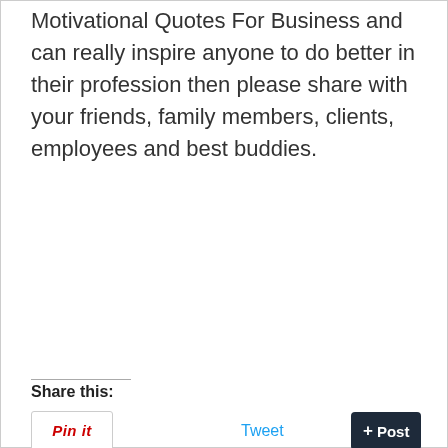Motivational Quotes For Business and can really inspire anyone to do better in their profession then please share with your friends, family members, clients, employees and best buddies.
Share this:
Pin it  Tweet  + Post